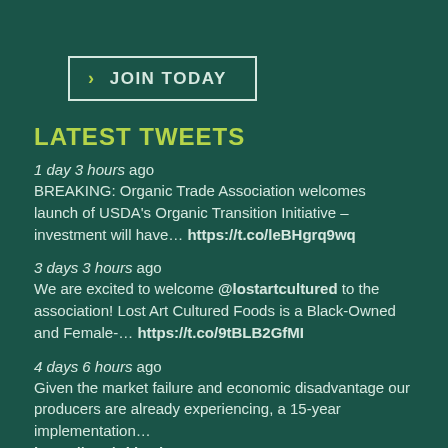› JOIN TODAY
LATEST TWEETS
1 day 3 hours ago
BREAKING: Organic Trade Association welcomes launch of USDA's Organic Transition Initiative – investment will have… https://t.co/leBHgrq9wq
3 days 3 hours ago
We are excited to welcome @lostartcultured to the association! Lost Art Cultured Foods is a Black-Owned and Female-… https://t.co/9tBLB2GfMI
4 days 6 hours ago
Given the market failure and economic disadvantage our producers are already experiencing, a 15-year implementation… https://t.co/CkinwjH2Bw